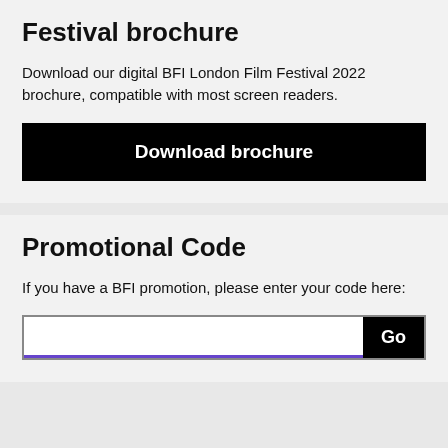Festival brochure
Download our digital BFI London Film Festival 2022 brochure, compatible with most screen readers.
Download brochure
Promotional Code
If you have a BFI promotion, please enter your code here: